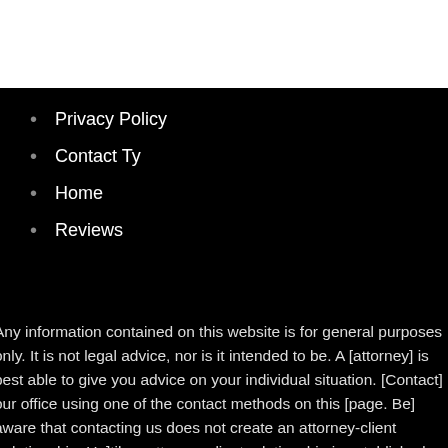Privacy Policy
Contact Ty
Home
Reviews
Any information contained on this website is for general purposes only. It is not legal advice, nor is it intended to be. A [attorney] is best able to give you advice on your individual situation. [Contact] our office using one of the contact methods on this [page. Be] aware that contacting us does not create an attorney-client [relationship. Un]til an attorney client relationship is established, please [do not send] confidential information to us.